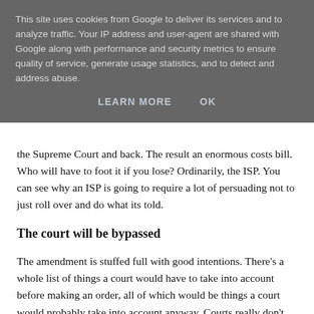This site uses cookies from Google to deliver its services and to analyze traffic. Your IP address and user-agent are shared with Google along with performance and security metrics to ensure quality of service, generate usage statistics, and to detect and address abuse.
LEARN MORE   OK
the Supreme Court and back. The result an enormous costs bill. Who will have to foot it if you lose? Ordinarily, the ISP. You can see why an ISP is going to require a lot of persuading not to just roll over and do what its told.
The court will be bypassed
The amendment is stuffed full with good intentions. There's a whole list of things a court would have to take into account before making an order, all of which would be things a court would probably take into account anyway. Courts really don't need to be told to take into account "the importance of preserving human rights, including freedom of expression, and the right to property" for instance — they are required to do so by the Human Rights Act 1998 — which suggests that